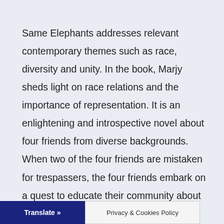Same Elephants addresses relevant contemporary themes such as race, diversity and unity. In the book, Marjy sheds light on race relations and the importance of representation. It is an enlightening and introspective novel about four friends from diverse backgrounds. When two of the four friends are mistaken for trespassers, the four friends embark on a quest to educate their community about the dangers of stereotyping. Same Elephants explores everyday relationships, the presumptuous nature of society and the ability to rise above prejudice.
Translate »   Privacy & Cookies Policy